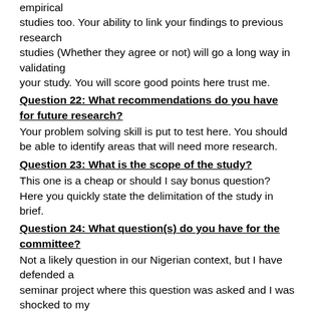empirical studies too. Your ability to link your findings to previous research studies (Whether they agree or not) will go a long way in validating your study. You will score good points here trust me.
Question 22: What recommendations do you have for future research?
Your problem solving skill is put to test here. You should be able to identify areas that will need more research.
Question 23: What is the scope of the study?
This one is a cheap or should I say bonus question? Here you quickly state the delimitation of the study in brief.
Question 24: What question(s) do you have for the committee?
Not a likely question in our Nigerian context, but I have defended a seminar project where this question was asked and I was shocked to my marrows. This is an opportunity to interact with your